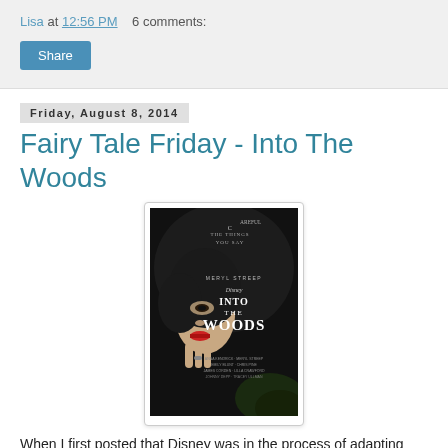Lisa at 12:56 PM   6 comments:
Share
Friday, August 8, 2014
Fairy Tale Friday - Into The Woods
[Figure (photo): Movie poster for Disney's 'Into The Woods' featuring a dark-clad figure (the Witch played by Meryl Streep) with red lips holding her hand to her face, with text 'Careful The Things You Say', 'Meryl Streep', and 'Disney Into The Woods']
When I first posted that Disney was in the process of adapting Stephen Sondheim's beloved musical "Into The Woods" into a film, I was interested in it only so far as that it was another fairy tale story being made into a movie. I'd